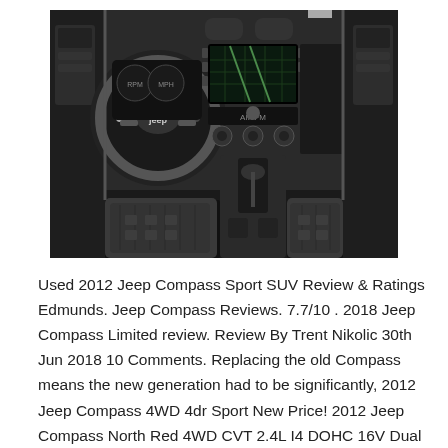[Figure (photo): Interior photo of a Jeep Compass showing the steering wheel with Jeep logo, center console with infotainment screen and controls, gear shift, and front seats with dark fabric upholstery.]
Used 2012 Jeep Compass Sport SUV Review & Ratings Edmunds. Jeep Compass Reviews. 7.7/10 . 2018 Jeep Compass Limited review. Review By Trent Nikolic 30th Jun 2018 10 Comments. Replacing the old Compass means the new generation had to be significantly, 2012 Jeep Compass 4WD 4dr Sport New Price! 2012 Jeep Compass North Red 4WD CVT 2.4L I4 DOHC 16V Dual VVT DEALER MAINTAINED. CLEAN CARPROOF. 4WD. ABS brakes. Alloy